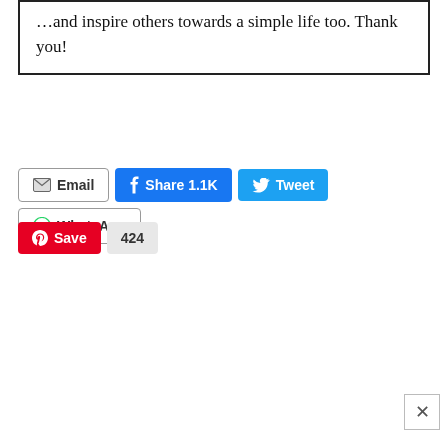…and inspire others towards a simple life too. Thank you!
[Figure (screenshot): Social share buttons row: Email, Share 1.1K (Facebook), Tweet (Twitter), WhatsApp; second row: Save (Pinterest), 424]
[Figure (screenshot): Close (×) button in bottom right corner]